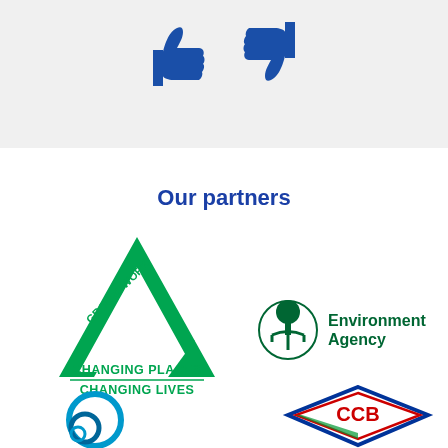[Figure (illustration): Thumbs up and thumbs down icons in blue on grey background]
Our partners
[Figure (logo): Groundwork logo - green triangle with text CHANGING PLACES CHANGING LIVES]
[Figure (logo): Environment Agency logo - green tree/figure in circle with text Environment Agency]
[Figure (logo): Partial blue swirl logo at bottom left]
[Figure (logo): CCB logo partial - diamond shape with red, blue, green and white]